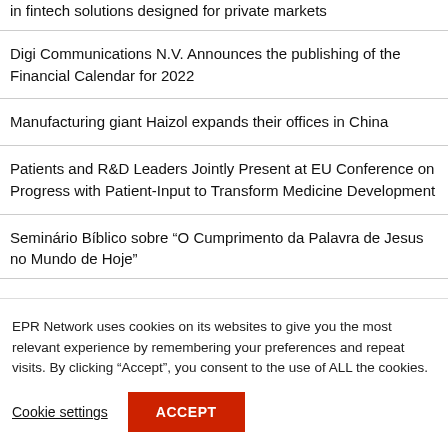in fintech solutions designed for private markets
Digi Communications N.V. Announces the publishing of the Financial Calendar for 2022
Manufacturing giant Haizol expands their offices in China
Patients and R&D Leaders Jointly Present at EU Conference on Progress with Patient-Input to Transform Medicine Development
Seminário Bíblico sobre “O Cumprimento da Palavra de Jesus no Mundo de Hoje”
EPR Network uses cookies on its websites to give you the most relevant experience by remembering your preferences and repeat visits. By clicking “Accept”, you consent to the use of ALL the cookies.
Cookie settings
ACCEPT